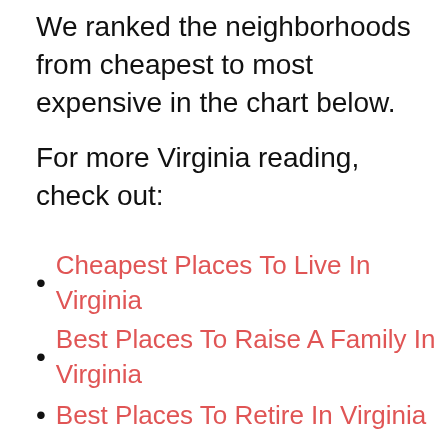We ranked the neighborhoods from cheapest to most expensive in the chart below.
For more Virginia reading, check out:
Cheapest Places To Live In Virginia
Best Places To Raise A Family In Virginia
Best Places To Retire In Virginia